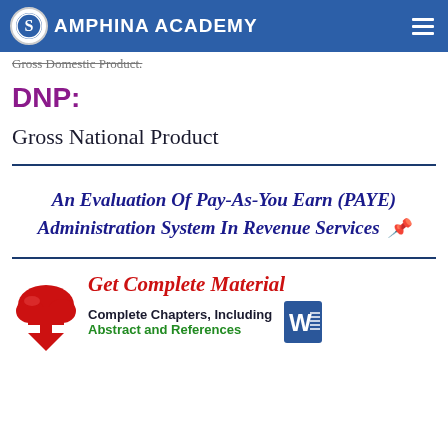SAMPHINA ACADEMY
Gross Domestic Product.
DNP:
Gross National Product
An Evaluation Of Pay-As-You Earn (PAYE) Administration System In Revenue Services
[Figure (logo): Samphina Academy promotional banner: red cloud download icon, 'Get Complete Material' in red italic script, 'Complete Chapters, Including Abstract and References' in dark and green text, Microsoft Word icon]
Get Complete Material - Complete Chapters, Including Abstract and References